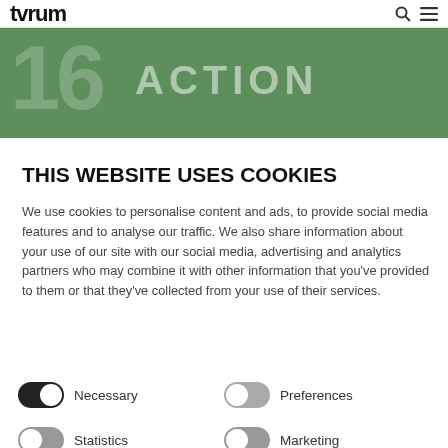tvrum
[Figure (infographic): Green banner with large number '16' watermark and 'ACTION' text in large bold letters]
THIS WEBSITE USES COOKIES
We use cookies to personalise content and ads, to provide social media features and to analyse our traffic. We also share information about your use of our site with our social media, advertising and analytics partners who may combine it with other information that you've provided to them or that they've collected from your use of their services.
Necessary | Preferences | Statistics | Marketing (toggle controls)